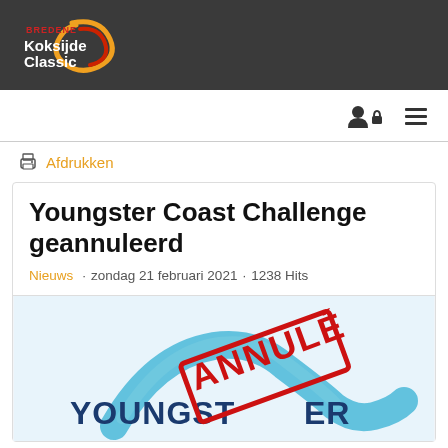[Figure (logo): Bredene Koksijde Classic logo with swirl design on dark background]
Afdrukken
Youngster Coast Challenge geannuleerd
Nieuws · zondag 21 februari 2021 · 1238 Hits
[Figure (illustration): Youngster Coast Challenge logo with ANNULÉ stamp in red diagonal text over a blue wave graphic]